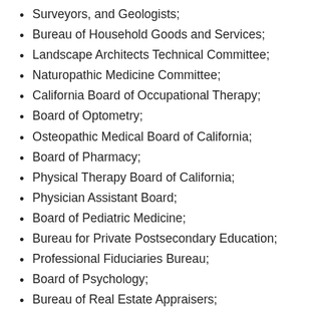Surveyors, and Geologists;
Bureau of Household Goods and Services;
Landscape Architects Technical Committee;
Naturopathic Medicine Committee;
California Board of Occupational Therapy;
Board of Optometry;
Osteopathic Medical Board of California;
Board of Pharmacy;
Physical Therapy Board of California;
Physician Assistant Board;
Board of Pediatric Medicine;
Bureau for Private Postsecondary Education;
Professional Fiduciaries Bureau;
Board of Psychology;
Bureau of Real Estate Appraisers;
Board of Registered Nursing;
Respiratory Care Board;
Bureau of Security and Investigative Services;